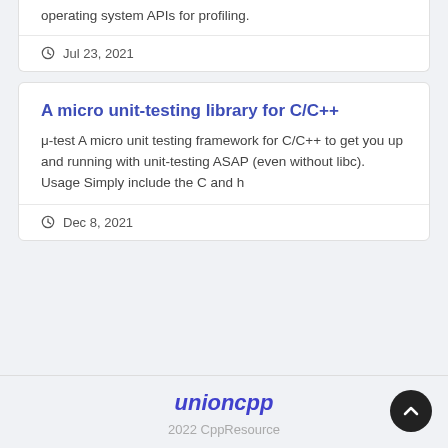operating system APIs for profiling.
Jul 23, 2021
A micro unit-testing library for C/C++
μ-test A micro unit testing framework for C/C++ to get you up and running with unit-testing ASAP (even without libc). Usage Simply include the C and h
Dec 8, 2021
unioncpp
2022 CppResource